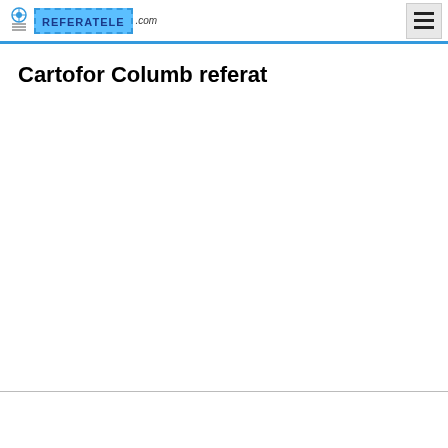REFERATELE.com
Cartofor Columb referat